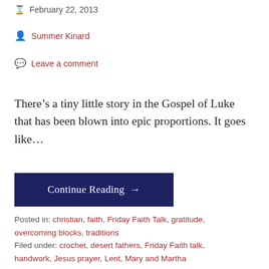February 22, 2013
Summer Kinard
Leave a comment
There’s a tiny little story in the Gospel of Luke that has been blown into epic proportions. It goes like…
Continue Reading →
Posted in: christian, faith, Friday Faith Talk, gratitude, overcoming blocks, traditions
Filed under: crochet, desert fathers, Friday Faith talk, handwork, Jesus prayer, Lent, Mary and Martha